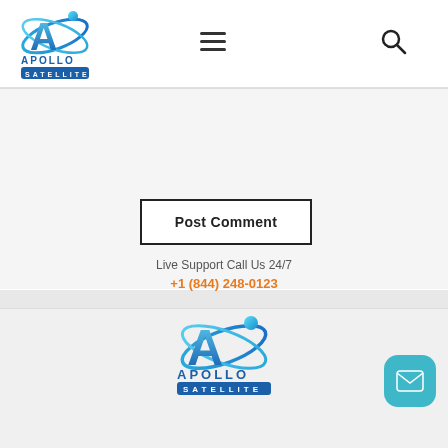[Figure (logo): Apollo Satellite logo - blue letter A with orbit rings and APOLLO SATELLITE text]
[Figure (other): Hamburger menu icon (three horizontal lines)]
[Figure (other): Search/magnifying glass icon]
Post Comment
[Figure (logo): Apollo Satellite logo large - blue letter A with orbit rings and APOLLO SATELLITE text]
Live Support Call Us 24/7
+1 (844) 248-0123
[Figure (other): Teal rounded square email/envelope button]